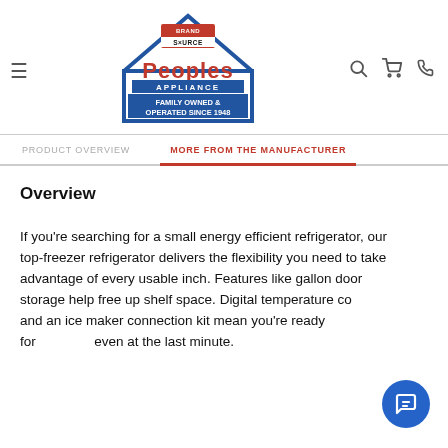[Figure (logo): Peoples Appliance logo — Brand Source badge inside a house outline, red PEOPLES text, APPLIANCE banner, blue Family Owned & Operated Since 1948 sign]
PRODUCT OVERVIEW   MORE FROM THE MANUFACTURER
Overview
If you're searching for a small energy efficient refrigerator, our top-freezer refrigerator delivers the flexibility you need to take advantage of every usable inch. Features like gallon door storage help free up shelf space. Digital temperature controls and an ice maker connection kit mean you're ready for anything, even at the last minute.